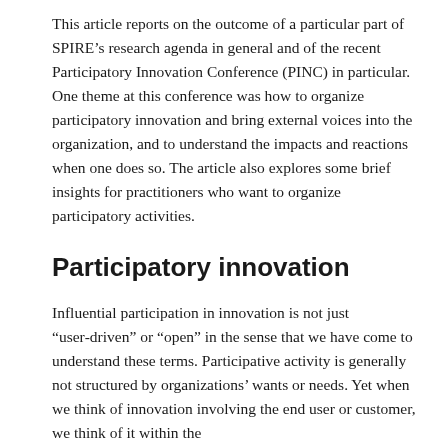This article reports on the outcome of a particular part of SPIRE’s research agenda in general and of the recent Participatory Innovation Conference (PINC) in particular. One theme at this conference was how to organize participatory innovation and bring external voices into the organization, and to understand the impacts and reactions when one does so. The article also explores some brief insights for practitioners who want to organize participatory activities.
Participatory innovation
Influential participation in innovation is not just “user-driven” or “open” in the sense that we have come to understand these terms. Participative activity is generally not structured by organizations’ wants or needs. Yet when we think of innovation involving the end user or customer, we think of it within the